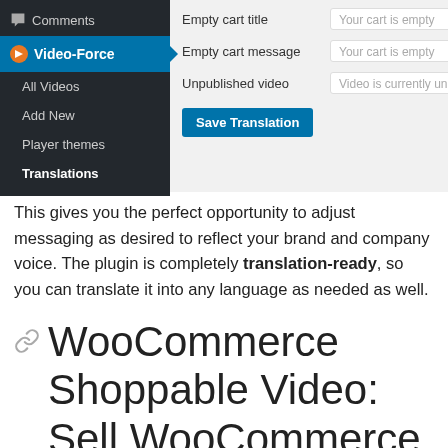[Figure (screenshot): WordPress admin sidebar showing Comments and Video-Force menu items (All Videos, Add New, Player themes, Translations), alongside a settings panel with fields: Empty cart title ('Your cart is empty'), Empty cart message ('Your cart is empty'), Unpublished video ('Video is currently unav'), and a blue Save Translation button.]
This gives you the perfect opportunity to adjust messaging as desired to reflect your brand and company voice. The plugin is completely translation-ready, so you can translate it into any language as needed as well.
WooCommerce Shoppable Video: Sell WooCommerce Products